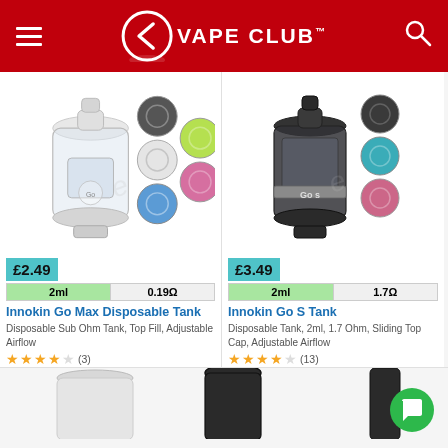VAPE CLUB
[Figure (photo): Innokin Go Max Disposable Tank product image with color variants (clear, white, grey, blue, green, pink)]
£2.49
| 2ml | 0.19Ω |
| --- | --- |
Innokin Go Max Disposable Tank
Disposable Sub Ohm Tank, Top Fill, Adjustable Airflow
★★★★☆ (3)
[Figure (photo): Innokin Go S Tank product image in dark/black color with color variants (black, teal, pink)]
£3.49
| 2ml | 1.7Ω |
| --- | --- |
Innokin Go S Tank
Disposable Tank, 2ml, 1.7 Ohm, Sliding Top Cap, Adjustable Airflow
★★★★☆ (13)
[Figure (photo): Partial product images at bottom of page - two vape tank tops visible]